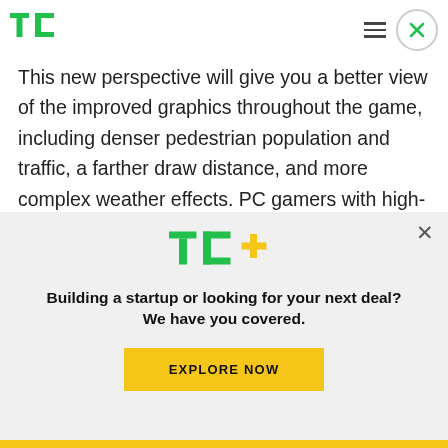[Figure (logo): TechCrunch TC green logo in header]
This new perspective will give you a better view of the improved graphics throughout the game, including denser pedestrian population and traffic, a farther draw distance, and more complex weather effects. PC gamers with high-end rigs get the best visuals, as the PC port supports cranking the resolution up from the console's max of 1080p all
[Figure (logo): TC+ logo in modal overlay]
Building a startup or looking for your next deal? We have you covered.
EXPLORE NOW